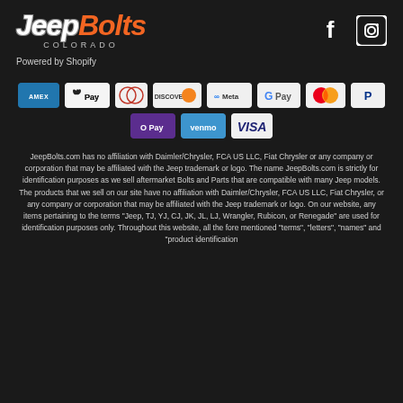[Figure (logo): JeepBolts Colorado logo with stylized italic text, 'Jeep' in white and 'Bolts' in orange, with 'COLORADO' subtitle in gray]
[Figure (logo): Facebook and Instagram social media icons in white on dark background]
Powered by Shopify
[Figure (infographic): Payment method badges: American Express, Apple Pay, Diners Club, Discover, Meta Pay, Google Pay, Mastercard, PayPal, Shop Pay, Venmo, Visa]
JeepBolts.com has no affiliation with Daimler/Chrysler, FCA US LLC, Fiat Chrysler or any company or corporation that may be affiliated with the Jeep trademark or logo. The name JeepBolts.com is strictly for identification purposes as we sell aftermarket Bolts and Parts that are compatible with many Jeep models. The products that we sell on our site have no affiliation with Daimler/Chrysler, FCA US LLC, Fiat Chrysler, or any company or corporation that may be affiliated with the Jeep trademark or logo. On our website, any items pertaining to the terms "Jeep, TJ, YJ, CJ, JK, JL, LJ, Wrangler, Rubicon, or Renegade" are used for identification purposes only. Throughout this website, all the fore mentioned "terms", "letters", "names" and "product identification